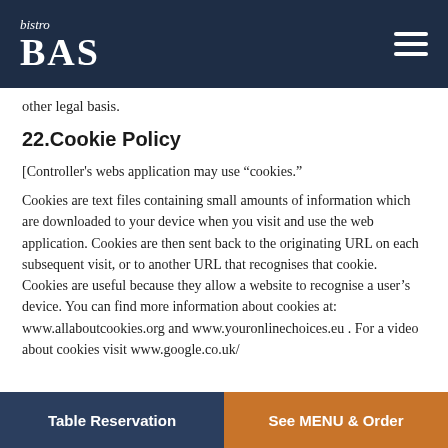bistro BAS
other legal basis.
22.Cookie Policy
[Controller's webs application may use “cookies.”
Cookies are text files containing small amounts of information which are downloaded to your device when you visit and use the web application. Cookies are then sent back to the originating URL on each subsequent visit, or to another URL that recognises that cookie. Cookies are useful because they allow a website to recognise a user’s device. You can find more information about cookies at: www.allaboutcookies.org and www.youronlinechoices.eu . For a video about cookies visit www.google.co.uk/
Table Reservation | See MENU & Order